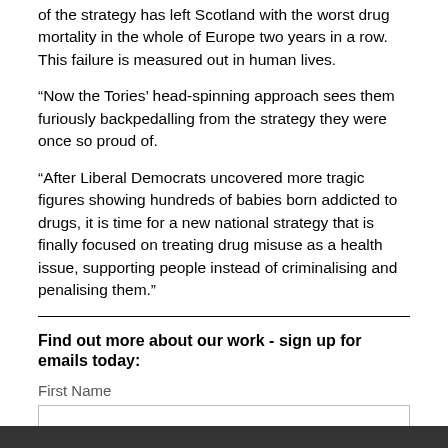of the strategy has left Scotland with the worst drug mortality in the whole of Europe two years in a row. This failure is measured out in human lives.
“Now the Tories’ head-spinning approach sees them furiously backpedalling from the strategy they were once so proud of.
“After Liberal Democrats uncovered more tragic figures showing hundreds of babies born addicted to drugs, it is time for a new national strategy that is finally focused on treating drug misuse as a health issue, supporting people instead of criminalising and penalising them."
Find out more about our work - sign up for emails today:
First Name